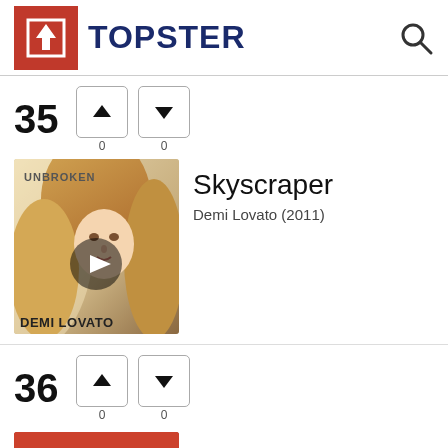TOPSTER
35
[Figure (illustration): Album cover for Demi Lovato - Unbroken (2011), showing Demi Lovato with long blonde hair, text UNBROKEN at top and DEMI LOVATO at bottom, with a play button overlay]
Skyscraper
Demi Lovato (2011)
36
[Figure (illustration): Partial view of another album cover at the bottom of the page, red background]